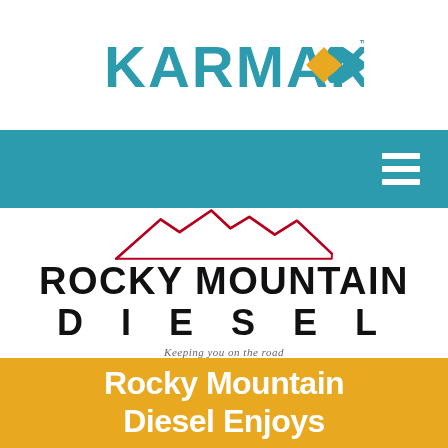[Figure (logo): Karmak logo: teal bold text 'KARMAK' with a yellow diamond and arrow chevron symbol to the right, trademark symbol]
[Figure (screenshot): Teal navigation bar with white hamburger menu icon on the right]
[Figure (logo): Rocky Mountain Diesel logo: red mountain silhouette outline above bold black text 'ROCKY MOUNTAIN' on top line and 'D I E S E L' on second line with wide letter spacing, italic tagline 'Keeping you on the road']
Rocky Mountain Diesel Enjoys